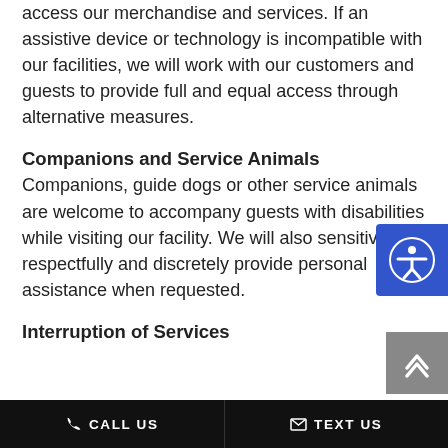access our merchandise and services. If an assistive device or technology is incompatible with our facilities, we will work with our customers and guests to provide full and equal access through alternative measures.
Companions and Service Animals
Companions, guide dogs or other service animals are welcome to accompany guests with disabilities while visiting our facility. We will also sensitively, respectfully and discretely provide personal assistance when requested.
Interruption of Services
CALL US   TEXT US